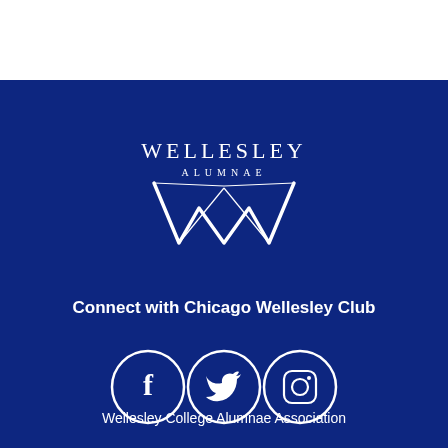[Figure (logo): Wellesley Alumnae logo with stylized W and text WELLESLEY ALUMNAE]
Connect with Chicago Wellesley Club
[Figure (infographic): Three social media icons in white circles: Facebook, Twitter, Instagram]
Wellesley College Alumnae Association